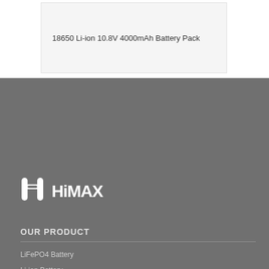18650 Li-ion 10.8V 4000mAh Battery Pack
[Figure (logo): HiMAX company logo in white on dark grey background]
OUR PRODUCT
LiFePO4 Battery
Li-ion Battery
Li-Polymer Battery
Ni-MH Battery
Charger
BMS
Solar Battery